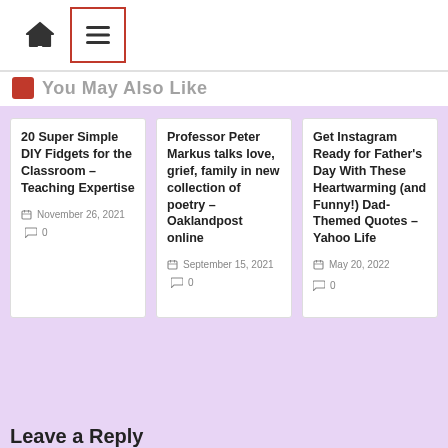[Figure (screenshot): Navigation bar with home icon and hamburger menu icon inside a red border box]
You May Also Like
20 Super Simple DIY Fidgets for the Classroom – Teaching Expertise
November 26, 2021  0
Professor Peter Markus talks love, grief, family in new collection of poetry – Oaklandpost online
September 15, 2021  0
Get Instagram Ready for Father's Day With These Heartwarming (and Funny!) Dad-Themed Quotes – Yahoo Life
May 20, 2022  0
Leave a Reply